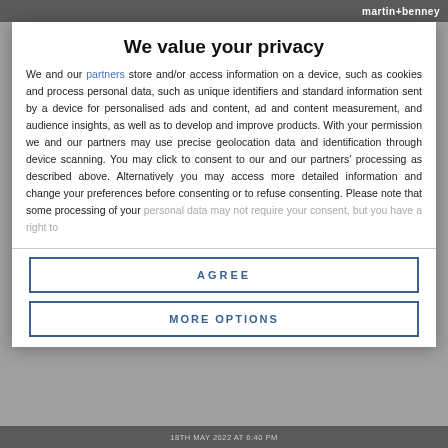martin+benney
We value your privacy
We and our partners store and/or access information on a device, such as cookies and process personal data, such as unique identifiers and standard information sent by a device for personalised ads and content, ad and content measurement, and audience insights, as well as to develop and improve products. With your permission we and our partners may use precise geolocation data and identification through device scanning. You may click to consent to our and our partners' processing as described above. Alternatively you may access more detailed information and change your preferences before consenting or to refuse consenting. Please note that some processing of your personal data may not require your consent, but you have a right to
AGREE
MORE OPTIONS
18TH MAY 2022 AT 6:40 PM